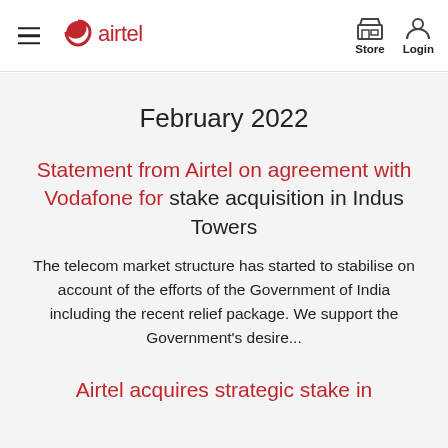airtel — Store Login
February 2022
Statement from Airtel on agreement with Vodafone for stake acquisition in Indus Towers
The telecom market structure has started to stabilise on account of the efforts of the Government of India including the recent relief package. We support the Government's desire...
Airtel acquires strategic stake in